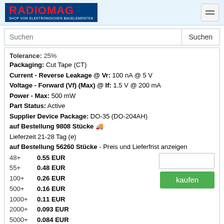RADIOMAG - SHOP VON ELEKTRONISCHEN BAUELEMENTEN
Suchen
Tolerance: 25%
Packaging: Cut Tape (CT)
Current - Reverse Leakage @ Vr: 100 nA @ 5 V
Voltage - Forward (Vf) (Max) @ If: 1.5 V @ 200 mA
Power - Max: 500 mW
Part Status: Active
Supplier Device Package: DO-35 (DO-204AH)
auf Bestellung 9808 Stücke
Lieferzeit 21-28 Tag (e)
auf Bestellung 56260 Stücke - Preis und Lieferfrist anzeigen
48+   0.55 EUR
55+   0.48 EUR
100+  0.26 EUR
500+  0.16 EUR
1000+ 0.11 EUR
2000+ 0.093 EUR
5000+ 0.084 EUR
BZX55C7V5-TR
Hersteller: Vishay General Semiconductor -